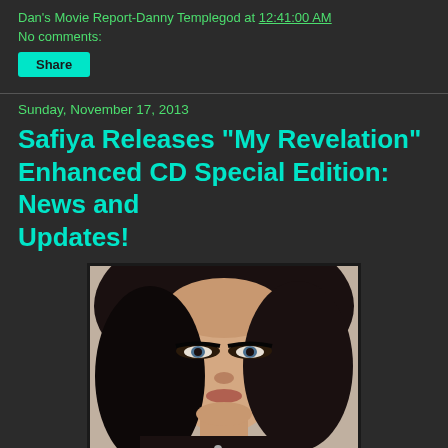Dan's Movie Report-Danny Templegod at 12:41:00 AM
No comments:
Share
Sunday, November 17, 2013
Safiya Releases "My Revelation" Enhanced CD Special Edition: News and Updates!
[Figure (photo): Album cover photo of Safiya, a woman with dark hair and dramatic eye makeup, with 'Special Edition' text visible at bottom]